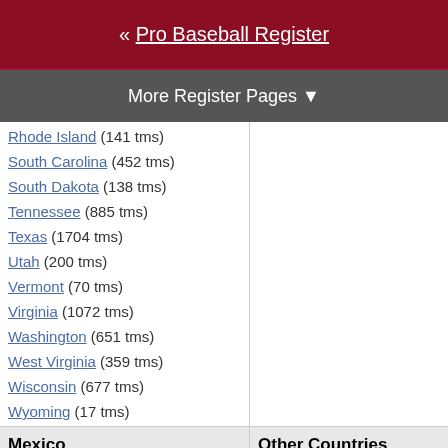« Pro Baseball Register
More Register Pages ▼
Rhode Island (141 tms)
South Carolina (452 tms)
South Dakota (138 tms)
Tennessee (885 tms)
Texas (1704 tms)
Utah (200 tms)
Vermont (70 tms)
Virginia (1072 tms)
Washington (651 tms)
West Virginia (359 tms)
Wisconsin (677 tms)
Wyoming (17 tms)
Mexico
Other Countries
(11 tms)
(435 tms)
Aguascalientes (56 tms)
Australia (125 tms)